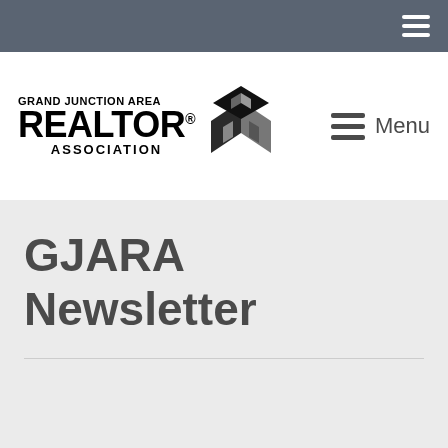[Figure (logo): Grand Junction Area REALTOR® Association logo with building icon]
Menu
GJARA Newsletter